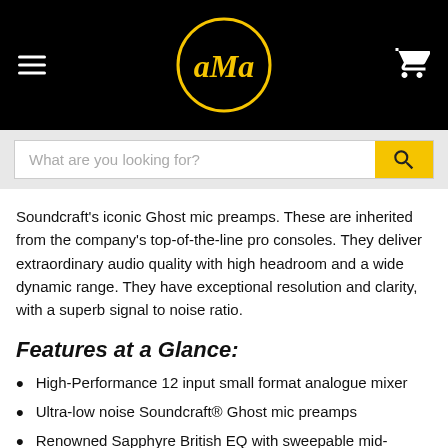[Figure (logo): AMA logo: yellow cursive 'ama' text inside a yellow circle on black background, with hamburger menu icon on left and shopping cart icon on right]
[Figure (screenshot): Search bar with placeholder text 'What are you looking for?' and yellow search button with magnifying glass icon]
Soundcraft's iconic Ghost mic preamps. These are inherited from the company's top-of-the-line pro consoles. They deliver extraordinary audio quality with high headroom and a wide dynamic range. They have exceptional resolution and clarity, with a superb signal to noise ratio.
Features at a Glance:
High-Performance 12 input small format analogue mixer
Ultra-low noise Soundcraft® Ghost mic preamps
Renowned Sapphyre British EQ with sweepable mid-